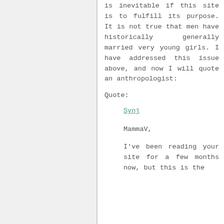is inevitable if this site is to fulfill its purpose. It is not true that men have historically generally married very young girls. I have addressed this issue above, and now I will quote an anthropologist:
Quote:
Synj
MammaV,
I've been reading your site for a few months now, but this is the